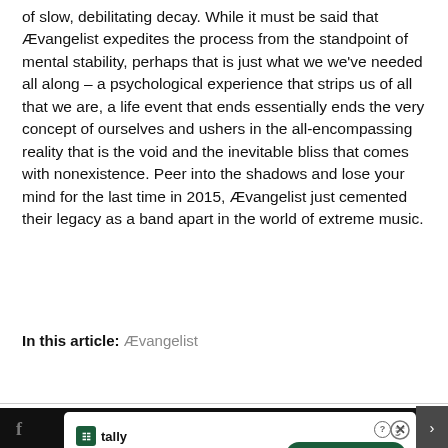of slow, debilitating decay. While it must be said that Ævangelist expedites the process from the standpoint of mental stability, perhaps that is just what we we've needed all along – a psychological experience that strips us of all that we are, a life event that ends essentially ends the very concept of ourselves and ushers in the all-encompassing reality that is the void and the inevitable bliss that comes with nonexistence. Peer into the shadows and lose your mind for the last time in 2015, Ævangelist just cemented their legacy as a band apart in the world of extreme music.
In this article: Ævangelist
[Figure (other): Advertisement banner for Tally app - Fast credit card payoff, with Download Now button]